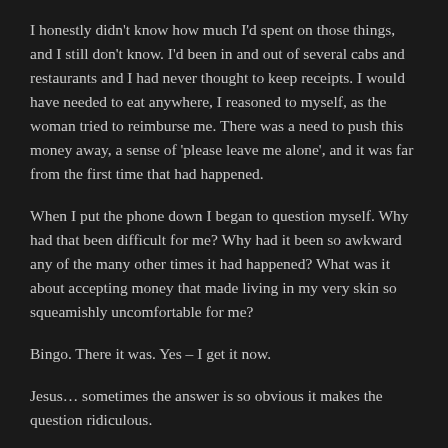I honestly didn't know how much I'd spent on those things, and I still don't know. I'd been in and out of several cabs and restaurants and I had never thought to keep receipts. I would have needed to eat anywhere, I reasoned to myself, as the woman tried to reimburse me. There was a need to push this money away, a sense of 'please leave me alone', and it was far from the first time that had happened.
When I put the phone down I began to question myself. Why had that been difficult for me? Why had it been so awkward any of the many other times it had happened? What was it about accepting money that made living in my very skin so squeamishly uncomfortable for me?
Bingo. There it was. Yes – I get it now.
Jesus… sometimes the answer is so obvious it makes the question ridiculous.
FreeIrishWoman.